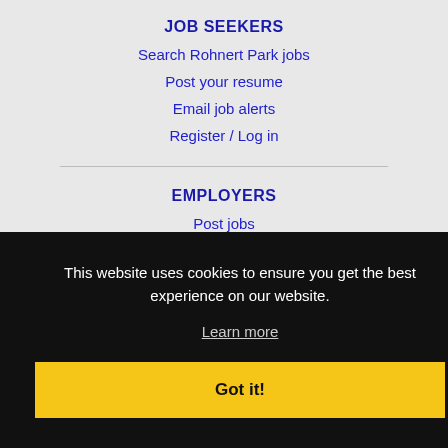JOB SEEKERS
Search Rohnert Park jobs
Post your resume
Email job alerts
Register / Log in
EMPLOYERS
Post jobs
Search resumes
Immigration FAQs
This website uses cookies to ensure you get the best experience on our website.
Learn more
Got it!